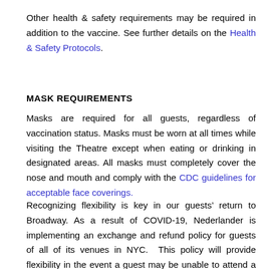Other health & safety requirements may be required in addition to the vaccine. See further details on the Health & Safety Protocols.
MASK REQUIREMENTS
Masks are required for all guests, regardless of vaccination status. Masks must be worn at all times while visiting the Theatre except when eating or drinking in designated areas. All masks must completely cover the nose and mouth and comply with the CDC guidelines for acceptable face coverings.
Recognizing flexibility is key in our guests’ return to Broadway. As a result of COVID-19, Nederlander is implementing an exchange and refund policy for guests of all of its venues in NYC. This policy will provide flexibility in the event a guest may be unable to attend a show due to illness, travel restrictions, or any other circumstances. Our guests may feel confident purchasing tickets in advance knowing this